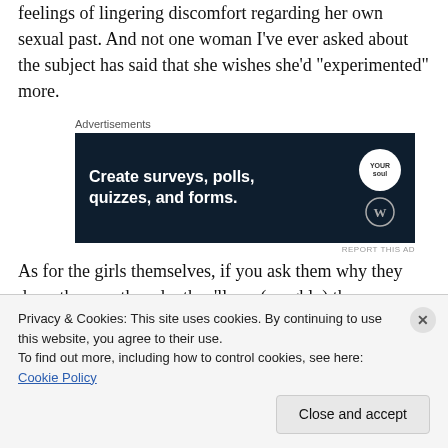feelings of lingering discomfort regarding her own sexual past. And not one woman I've ever asked about the subject has said that she wishes she'd “experimented” more.
[Figure (other): Advertisement banner for WordPress surveys/polls/quizzes/forms tool with dark navy background and white bold text reading 'Create surveys, polls, quizzes, and forms.' with WordPress logo and a circular badge.]
As for the girls themselves, if you ask them why they dress the way they do, they’ll say (roughly) the same things I said to my mother: “What’s the big deal?” “But it’s the
Privacy & Cookies: This site uses cookies. By continuing to use this website, you agree to their use.
To find out more, including how to control cookies, see here: Cookie Policy